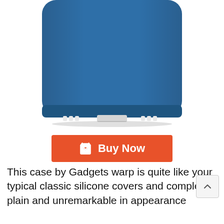[Figure (photo): Bottom portion of a blue silicone iPhone case against a white background, showing the bottom edge with cutouts]
Buy Now
This case by Gadgets warp is quite like your typical classic silicone covers and completely plain and unremarkable in appearance although it does flaunt the Apple brand...